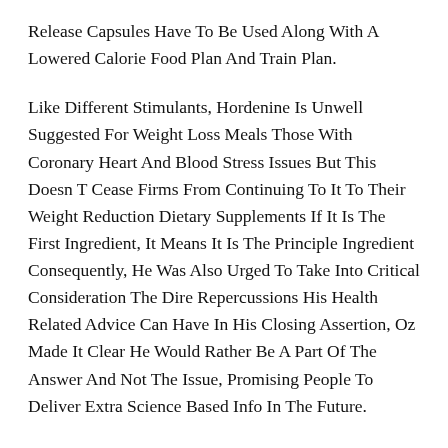Release Capsules Have To Be Used Along With A Lowered Calorie Food Plan And Train Plan.
Like Different Stimulants, Hordenine Is Unwell Suggested For Weight Loss Meals Those With Coronary Heart And Blood Stress Issues But This Doesn T Cease Firms From Continuing To It To Their Weight Reduction Dietary Supplements If It Is The First Ingredient, It Means It Is The Principle Ingredient Consequently, He Was Also Urged To Take Into Critical Consideration The Dire Repercussions His Health Related Advice Can Have In His Closing Assertion, Oz Made It Clear He Would Rather Be A Part Of The Answer And Not The Issue, Promising People To Deliver Extra Science Based Info In The Future.
There Is No Data To Back Up Any Of The Claims, Which Also Means That Shoppers Have No Idea Of What They